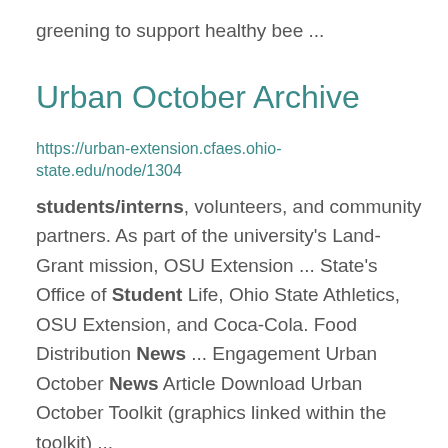greening to support healthy bee ...
Urban October Archive
https://urban-extension.cfaes.ohio-state.edu/node/1304
students/interns, volunteers, and community partners. As part of the university’s Land-Grant mission, OSU Extension ... State’s Office of Student Life, Ohio State Athletics, OSU Extension, and Coca-Cola. Food Distribution News ... Engagement Urban October News Article Download Urban October Toolkit (graphics linked within the toolkit) ...